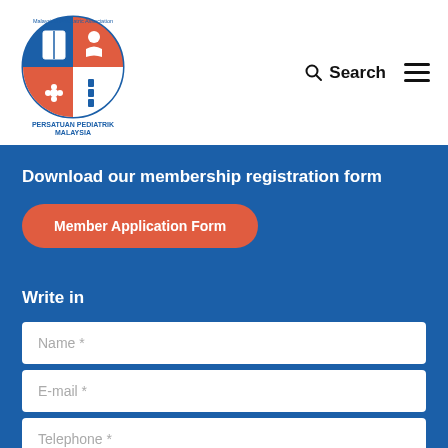[Figure (logo): Malaysian Paediatric Association logo - circular emblem with text PERSATUAN PEDIATRIK MALAYSIA]
Search
Download our membership registration form
Member Application Form
Write in
Name *
E-mail *
Telephone *
Message *